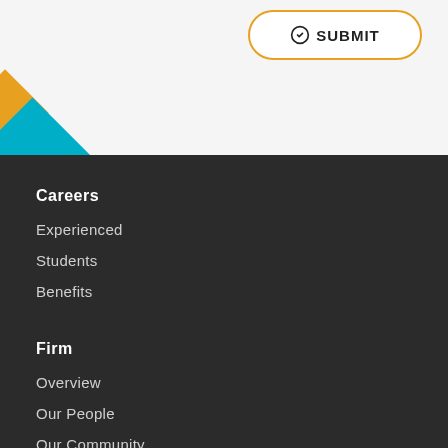[Figure (other): Submit button with orange border and checkmark icon]
[Figure (illustration): Orange and teal rotated diamond/rhombus decorative shapes overlapping the top-left corner of the dark footer area]
Careers
Experienced
Students
Benefits
Firm
Overview
Our People
Our Community
Templeton Group